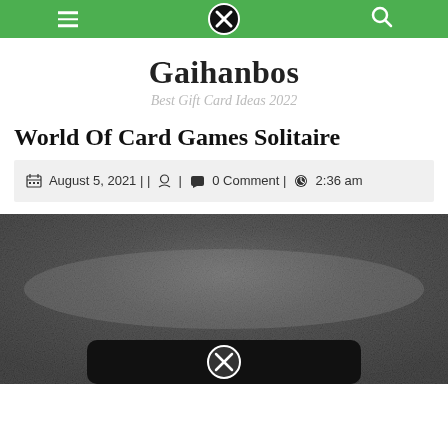Navigation bar with menu icon, close button, and search icon on green background
Gaihanbos
Best Gift Card Ideas 2022
World Of Card Games Solitaire
August 5, 2021 | | [user icon] | [comment icon] 0 Comment | [clock icon] 2:36 am
[Figure (photo): Dark grainy/noisy black and white image, likely a card game screenshot or abstract texture, with a rounded dark rectangle bar at the bottom containing a close/cancel circle icon]